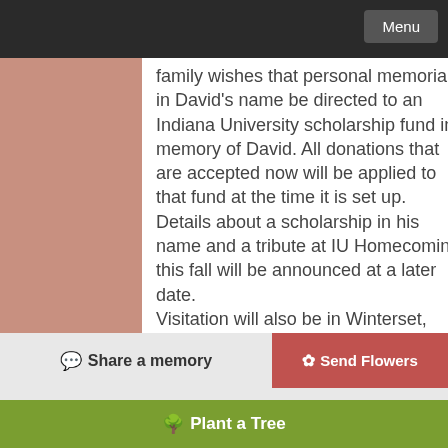Menu
family wishes that personal memorials in David's name be directed to an Indiana University scholarship fund in memory of David. All donations that are accepted now will be applied to that fund at the time it is set up. Details about a scholarship in his name and a tribute at IU Homecoming this fall will be announced at a later date. Visitation will also be in Winterset, Iowa on Friday, May 27th from 5-7 pm at the Caldwell Parrish Funeral Home – Winterset Chapel. He will be laid to rest in Winterset. For the Iowa visitation, in lieu of flowers, the family wishes that personal memorials in David's name be directed to the Winterset High School Alumni
Share a memory   Send Flowers   Plant a Tree